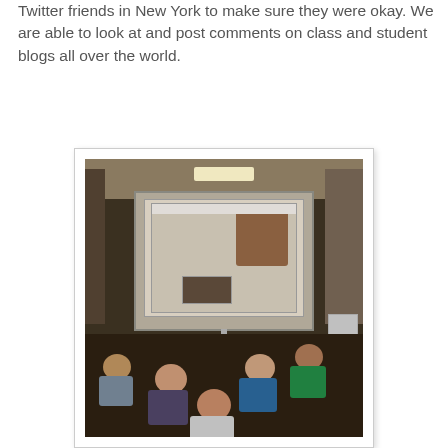Twitter friends in New York to make sure they were okay. We are able to look at and post comments on class and student blogs all over the world.
[Figure (photo): Classroom photo showing children sitting on the floor in front of a large interactive whiteboard displaying a video call, in a school library setting with bookshelves visible on the sides.]